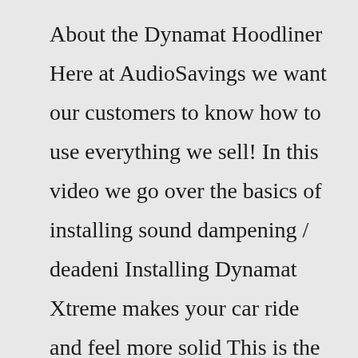About the Dynamat Hoodliner Here at AudioSavings we want our customers to know how to use everything we sell! In this video we go over the basics of installing sound dampening / deadeni Installing Dynamat Xtreme makes your car ride and feel more solid This is the stuff you get from Lowes Hardware Get better sound, protect your car's paint finish and get that show car look with a custom thermo-